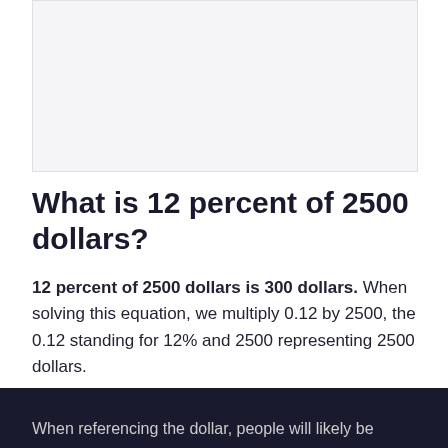[Figure (other): Advertisement or image placeholder block with light gray background]
What is 12 percent of 2500 dollars?
12 percent of 2500 dollars is 300 dollars. When solving this equation, we multiply 0.12 by 2500, the 0.12 standing for 12% and 2500 representing 2500 dollars.
When referencing the dollar, people will likely be